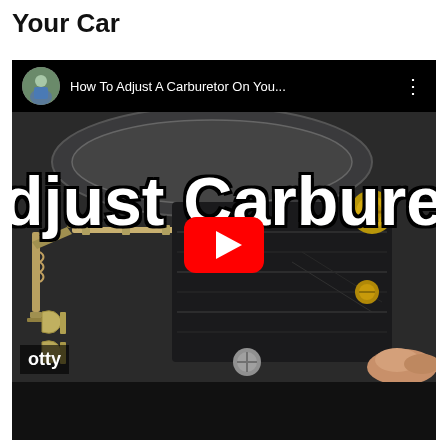Your Car
[Figure (screenshot): YouTube video thumbnail showing a close-up of a carburetor being adjusted, with the title 'How To Adjust A Carburetor On You...' and a channel avatar in the top bar, a large red YouTube play button in the center, and bold white text 'djust Carbureto' overlaid. Bottom left shows 'otty' watermark text.]